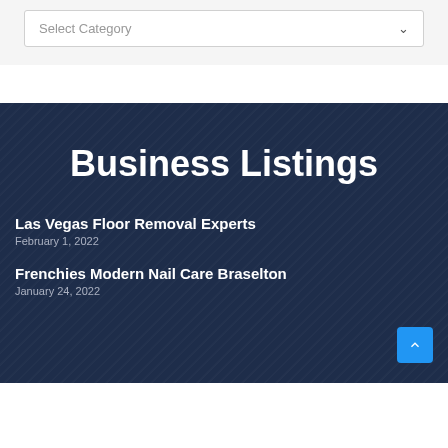[Figure (screenshot): A dropdown UI element with placeholder text 'Select Category' and a chevron arrow on the right, inside a light gray background panel.]
Business Listings
Las Vegas Floor Removal Experts
February 1, 2022
Frenchies Modern Nail Care Braselton
January 24, 2022